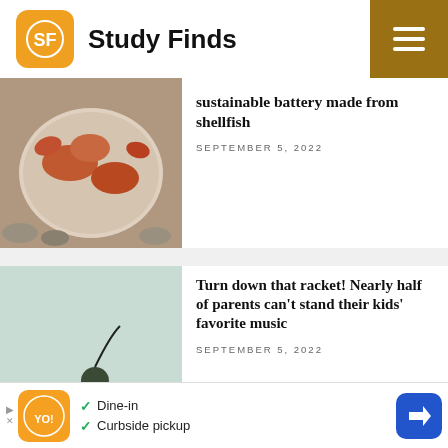Study Finds
[Figure (photo): Photo of crabs/shellfish in a bowl on pebbles]
sustainable battery made from shellfish
SEPTEMBER 5, 2022
[Figure (photo): Person lying down next to a boombox radio, feet up]
Turn down that racket! Nearly half of parents can't stand their kids' favorite music
SEPTEMBER 5, 2022
[Figure (photo): Industrial factory with smokestacks and yellow sulfur piles]
Demand for green technology, less fossil fuel will leave us in a sulfur shortage, experts warn
SEPTEMBER 4, 2022
[Figure (other): Advertisement banner: restaurant with Dine-in and Curbside pickup options]